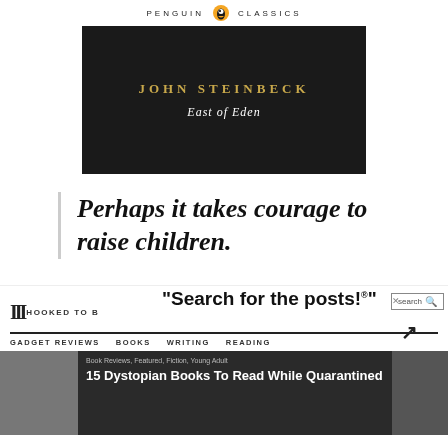[Figure (illustration): Penguin Classics book cover for 'East of Eden' by John Steinbeck. Black background with gold author name and white italic title. White top bar reads 'PENGUIN CLASSICS' with Penguin logo.]
Perhaps it takes courage to raise children.
[Figure (screenshot): Screenshot of a website called 'HOOKED TO BOOKS' showing a search callout 'Search for the posts!' with a search box in the top right and an arrow pointing to it. Navigation bar shows GADGET REVIEWS, BOOKS, WRITING, READING. Below is a dark article preview: '15 Dystopian Books To Read While Quarantined' tagged Book Reviews, Featured, Fiction, Young Adult.]